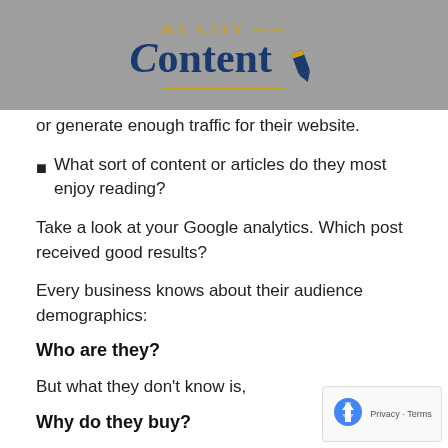MY CITY Content
or generate enough traffic for their website.
What sort of content or articles do they most enjoy reading?
Take a look at your Google analytics. Which post received good results?
Every business knows about their audience demographics:
Who are they?
But what they don't know is,
Why do they buy?
Once you hold the answer to the second one, you can m…